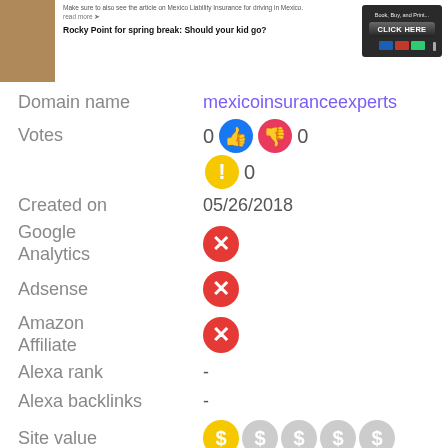[Figure (screenshot): Screenshot of a website banner for Mexico insurance, with 'Rocky Point for spring break: Should your kid go?' headline and a 'CLICK HERE' button on the right.]
Domain name	mexicoinsuranceexperts
Votes	0 [thumbs up] 0 [thumbs down]
0 [warning]
Created on	05/26/2018
Google Analytics	[red X]
Adsense	[red X]
Amazon Affiliate	[red X]
Alexa rank	-
Alexa backlinks	-
Site value	[dollar circles]
Themes	twentyseventeen
Free theme	[green checkmark]